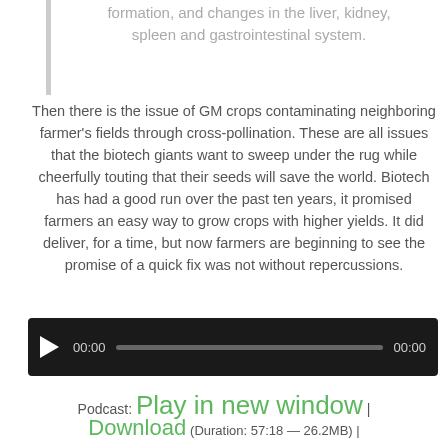formation, and changes in the liver, kidney, spleen and gastrointestinal system.
Then there is the issue of GM crops contaminating neighboring farmer's fields through cross-pollination. These are all issues that the biotech giants want to sweep under the rug while cheerfully touting that their seeds will save the world. Biotech has had a good run over the past ten years, it promised farmers an easy way to grow crops with higher yields. It did deliver, for a time, but now farmers are beginning to see the promise of a quick fix was not without repercussions.
[Figure (other): Audio player widget with play button, progress bar, and time indicators showing 00:00 on both sides]
Podcast: Play in new window | Download (Duration: 57:18 — 26.2MB) |